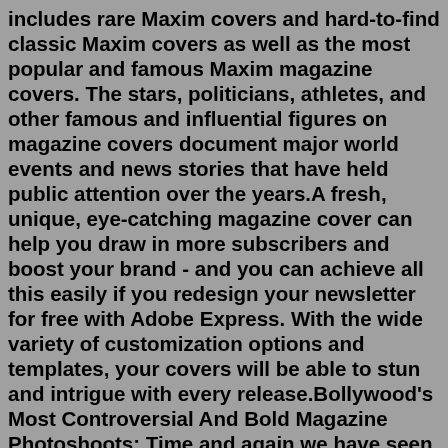includes rare Maxim covers and hard-to-find classic Maxim covers as well as the most popular and famous Maxim magazine covers. The stars, politicians, athletes, and other famous and influential figures on magazine covers document major world events and news stories that have held public attention over the years.A fresh, unique, eye-catching magazine cover can help you draw in more subscribers and boost your brand - and you can achieve all this easily if you redesign your newsletter for free with Adobe Express. With the wide variety of customization options and templates, your covers will be able to stun and intrigue with every release.Bollywood's Most Controversial And Bold Magazine Photoshoots: Time and again we have seen our popular stars featuring in top-notch magazine shoots. From Deepika Padukone's much-talked-about bold Maxim cover in white to Kangana Ranaut's 2007 Stardust magazine cover , these celebrities broke the stereotype and posed in the suavest and most.June 2005 issue of Maxim Magazine with Vanessa Minnill on the cover